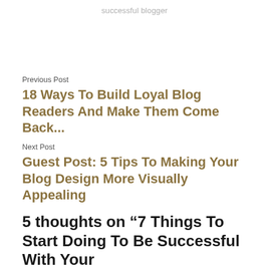successful blogger
Previous Post
18 Ways To Build Loyal Blog Readers And Make Them Come Back...
Next Post
Guest Post: 5 Tips To Making Your Blog Design More Visually Appealing
5 thoughts on “7 Things To Start Doing To Be Successful With Your